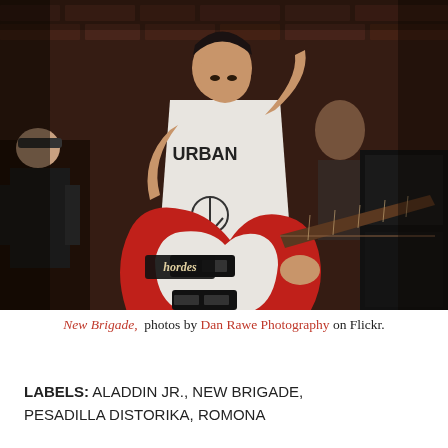[Figure (photo): A guitarist/bassist performing on stage in a brick-walled venue. He is wearing a white t-shirt with 'URBAN FALSE' text and graphics, playing a red electric guitar with 'hordes' written on it. Amplifiers visible in the background, other people visible to the left and behind.]
New Brigade, photos by Dan Rawe Photography on Flickr.
LABELS: ALADDIN JR., NEW BRIGADE, PESADILLA DISTORIKA, ROMONA